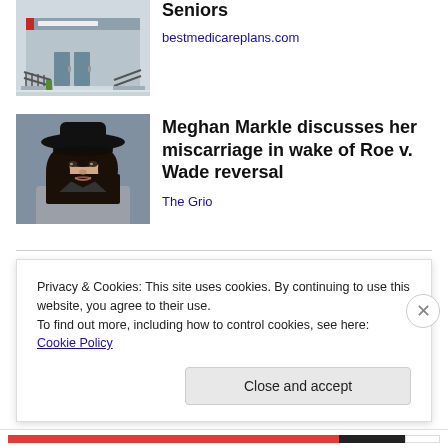[Figure (photo): Social Security Administration building exterior with railing and steps]
Seniors
bestmedicareplans.com
[Figure (photo): Portrait of Meghan Markle wearing a wide-brim black hat]
Meghan Markle discusses her miscarriage in wake of Roe v. Wade reversal
The Grio
Share this:
Privacy & Cookies: This site uses cookies. By continuing to use this website, you agree to their use.
To find out more, including how to control cookies, see here: Cookie Policy
Close and accept